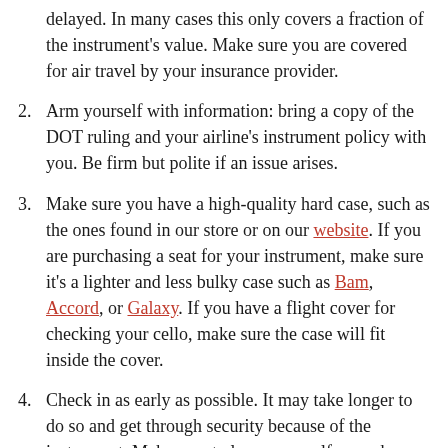delayed. In many cases this only covers a fraction of the instrument's value. Make sure you are covered for air travel by your insurance provider.
2. Arm yourself with information: bring a copy of the DOT ruling and your airline's instrument policy with you. Be firm but polite if an issue arises.
3. Make sure you have a high-quality hard case, such as the ones found in our store or on our website. If you are purchasing a seat for your instrument, make sure it's a lighter and less bulky case such as Bam, Accord, or Galaxy. If you have a flight cover for checking your cello, make sure the case will fit inside the cover.
4. Check in as early as possible. It may take longer to do so and get through security because of the instrument. Make sure to leave yourself enough